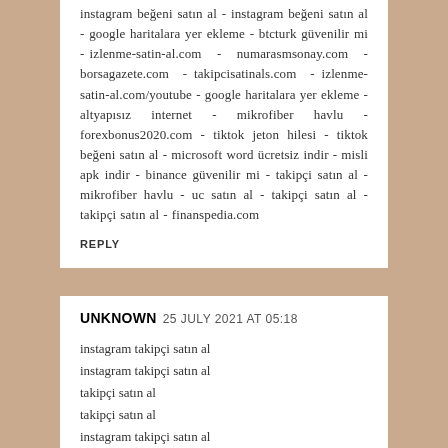instagram beğeni satın al - instagram beğeni satın al - google haritalara yer ekleme - btcturk güvenilir mi - izlenme-satin-al.com - numarasmsonay.com - borsagazete.com - takipcisatinals.com - izlenme-satin-al.com/youtube - google haritalara yer ekleme - altyapısız internet - mikrofiber havlu - forexbonus2020.com - tiktok jeton hilesi - tiktok beğeni satın al - microsoft word ücretsiz indir - misli apk indir - binance güvenilir mi - takipçi satın al - mikrofiber havlu - uc satın al - takipçi satın al - takipçi satın al - finanspedia.com
REPLY
UNKNOWN  25 JULY 2021 AT 05:18
instagram takipçi satın al
instagram takipçi satın al
takipçi satın al
takipçi satın al
instagram takipçi satın al
takipçi satın al
instagram takipçi satın al